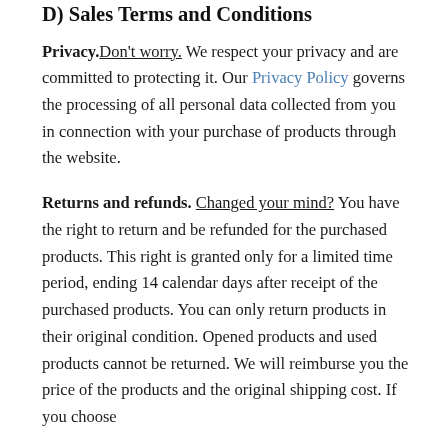D) Sales Terms and Conditions
Privacy. Don't worry. We respect your privacy and are committed to protecting it. Our Privacy Policy governs the processing of all personal data collected from you in connection with your purchase of products through the website.
Returns and refunds. Changed your mind? You have the right to return and be refunded for the purchased products. This right is granted only for a limited time period, ending 14 calendar days after receipt of the purchased products. You can only return products in their original condition. Opened products and used products cannot be returned. We will reimburse you the price of the products and the original shipping cost. If you choose